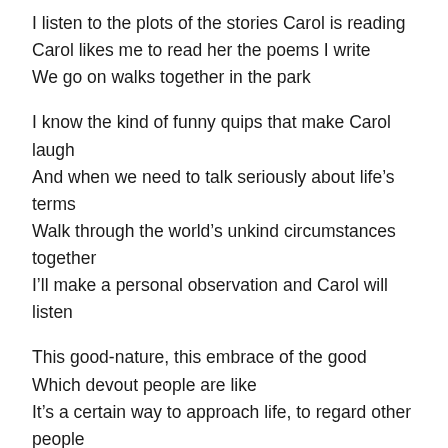I listen to the plots of the stories Carol is reading
Carol likes me to read her the poems I write
We go on walks together in the park
I know the kind of funny quips that make Carol laugh
And when we need to talk seriously about life’s terms
Walk through the world’s unkind circumstances together
I’ll make a personal observation and Carol will listen
This good-nature, this embrace of the good
Which devout people are like
It’s a certain way to approach life, to regard other people
It’s all more than getting someone out of your face
Playing a Bach fugue does something to my soul
You can’t get hanging out in a bar
Making your fingers work through the harmonies
rearranges synapses